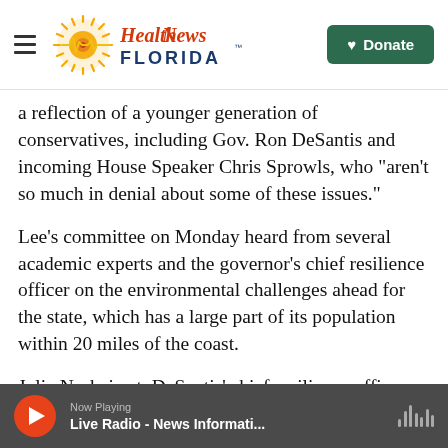Health News Florida — Donate
a reflection of a younger generation of conservatives, including Gov. Ron DeSantis and incoming House Speaker Chris Sprowls, who “aren’t so much in denial about some of these issues.”
Lee’s committee on Monday heard from several academic experts and the governor’s chief resilience officer on the environmental challenges ahead for the state, which has a large part of its population within 20 miles of the coast.
Julia Nesheiwat, DeSantis’ chief resilience officer, said her job is building a statewide strategy over
Now Playing — Live Radio - News Informati...